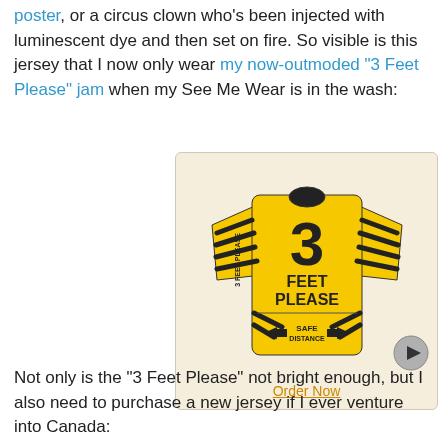poster, or a circus clown who's been injected with luminescent dye and then set on fire. So visible is this jersey that I now only wear my now-outmoded "3 Feet Please" jam when my See Me Wear is in the wash:
[Figure (photo): A yellow and black cycling jersey with '3 FEET PLEASE' printed on the back and 'SAFE DISTANCE' with arrows on the lower back. A play button icon is visible to the right. An 'Order Now' link appears below the jersey image.]
Not only is the "3 Feet Please" not bright enough, but I also need to purchase a new jersey if I ever venture into Canada: